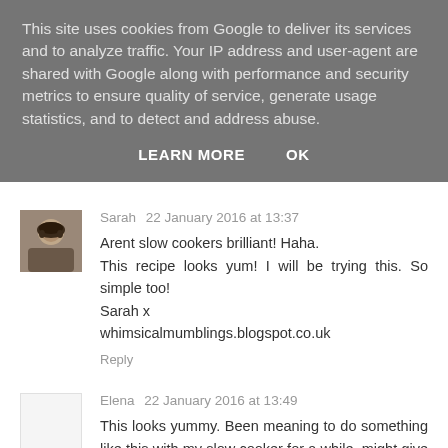This site uses cookies from Google to deliver its services and to analyze traffic. Your IP address and user-agent are shared with Google along with performance and security metrics to ensure quality of service, generate usage statistics, and to detect and address abuse.
LEARN MORE    OK
Sarah  22 January 2016 at 13:37
Arent slow cookers brilliant! Haha.
This recipe looks yum! I will be trying this. So simple too!
Sarah x
whimsicalmumblings.blogspot.co.uk
Reply
Elena  22 January 2016 at 13:49
This looks yummy. Been meaning to do something like this with my slow cooker for a while, might give it a try soon